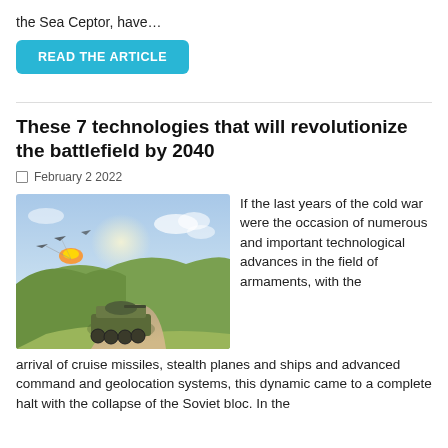the Sea Ceptor, have…
READ THE ARTICLE
These 7 technologies that will revolutionize the battlefield by 2040
February 2 2022
[Figure (photo): Military armored vehicle on a dirt trail in hilly terrain with aircraft and explosions in the sky above.]
If the last years of the cold war were the occasion of numerous and important technological advances in the field of armaments, with the arrival of cruise missiles, stealth planes and ships and advanced command and geolocation systems, this dynamic came to a complete halt with the collapse of the Soviet bloc. In the